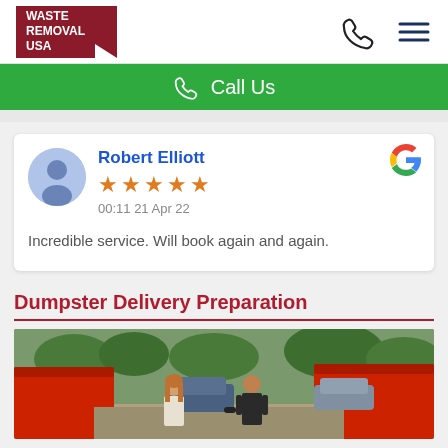Waste Removal USA | Call Us
Call Us
Robert Elliott
★★★★★
00:11 21 Apr 22
Incredible service. Will book again and again.
Dumpster Delivery Preparation
[Figure (photo): Two people standing in front of large red dumpsters outdoors, with cars and trees visible in the background.]